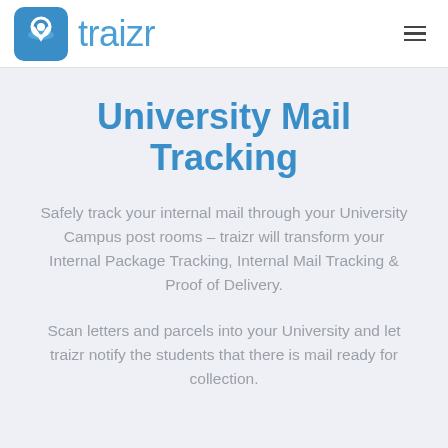[Figure (logo): Traizr logo: blue rounded square with white location pin icon, next to the text 'traizr' in blue, and a hamburger menu icon on the right]
University Mail Tracking
Safely track your internal mail through your University Campus post rooms – traizr will transform your Internal Package Tracking, Internal Mail Tracking & Proof of Delivery.
Scan letters and parcels into your University and let traizr notify the students that there is mail ready for collection.